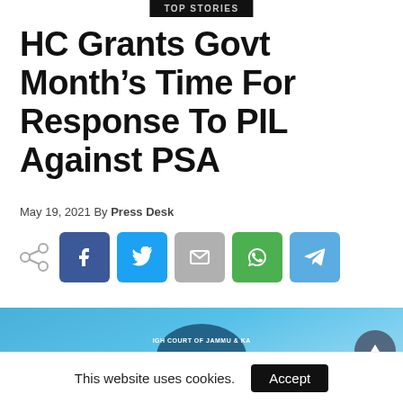TOP STORIES
HC Grants Govt Month's Time For Response To PIL Against PSA
May 19, 2021 By Press Desk
[Figure (infographic): Social share buttons row: generic share icon, Facebook (blue), Twitter (blue), Email (grey), WhatsApp (green), Telegram (light blue)]
[Figure (photo): Photo of the High Court of Jammu & Kashmir, Srinagar seal/emblem against a blue sky background, with a triangular scroll-to-top button overlay on the right.]
This website uses cookies.
Accept